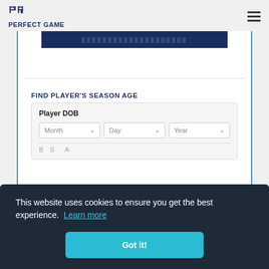PERFECT GAME
[Figure (other): Dark blue banner image with repeated text/logo pattern]
FIND PLAYER'S SEASON AGE
Player DOB
Month  Day  Year
This website uses cookies to ensure you get the best experience. Learn more
Got it!
Softball